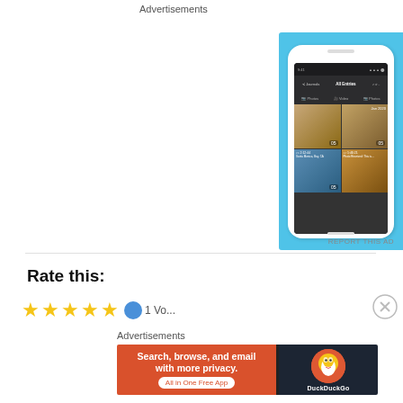Advertisements
[Figure (screenshot): DayOne journal app advertisement. Blue background with phone mockup showing app UI on left. Right side shows DayOne logo icon, wordmark 'DAY ONE', tagline 'Your Journal for life', and 'Get the app' button.]
REPORT THIS AD
Rate this:
[Figure (other): Five yellow stars rating with a blue circle icon and partially visible vote count text]
Advertisements
[Figure (screenshot): DuckDuckGo advertisement banner. Left orange section: 'Search, browse, and email with more privacy.' and 'All in One Free App' button. Right dark section: DuckDuckGo logo and brand name.]
REPORT THIS AD